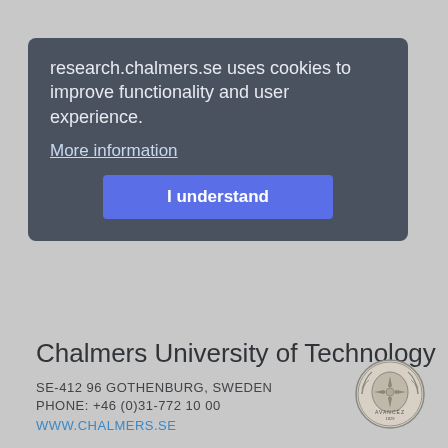Links
research.chalmers.se uses cookies to improve functionality and user experience.
More information
I understand
Chalmers Research
Research projects at chalmers.se
Chalmers University of Technology
SE-412 96 GOTHENBURG, SWEDEN
PHONE: +46 (0)31-772 10 00
WWW.CHALMERS.SE
[Figure (logo): Chalmers University of Technology circular emblem/seal logo]